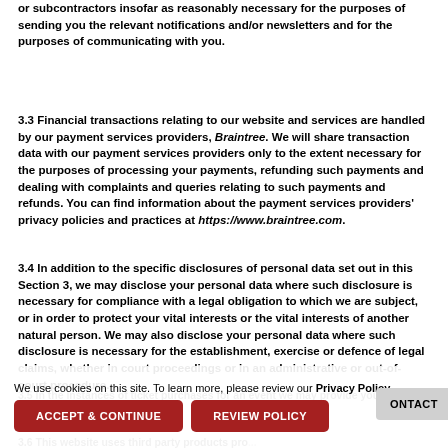or subcontractors insofar as reasonably necessary for the purposes of sending you the relevant notifications and/or newsletters and for the purposes of communicating with you.
3.3 Financial transactions relating to our website and services are handled by our payment services providers, Braintree. We will share transaction data with our payment services providers only to the extent necessary for the purposes of processing your payments, refunding such payments and dealing with complaints and queries relating to such payments and refunds. You can find information about the payment services providers' privacy policies and practices at https://www.braintree.com.
3.4 In addition to the specific disclosures of personal data set out in this Section 3, we may disclose your personal data where such disclosure is necessary for compliance with a legal obligation to which we are subject, or in order to protect your vital interests or the vital interests of another natural person. We may also disclose your personal data where such disclosure is necessary for the establishment, exercise or defence of legal claims, whether in court proceedings or in an administrative or out-of-court procedure.
3.5 In the instances of ticket purchases for an event we may provide your na... allow them to c...
3.6 This website uses third party products pro...
We use cookies on this site. To learn more, please review our Privacy Policy